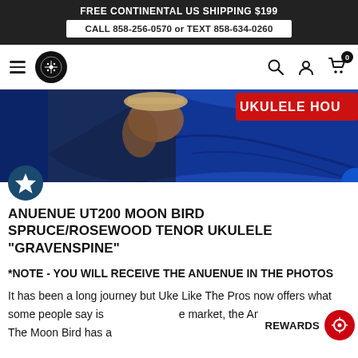FREE CONTINENTAL US SHIPPING $199
CALL 858-256-0570 or TEXT 858-634-0260
[Figure (screenshot): Website navigation bar with hamburger menu, guitar logo circle, search icon, account icon, and cart icon with 0 badge]
[Figure (photo): Hero banner image showing a person holding a ukulele against a blue background with partial red text reading UKULELE HOU...]
ANUENUE UT200 MOON BIRD SPRUCE/ROSEWOOD TENOR UKULELE "GRAVENSPINE"
*NOTE - YOU WILL RECEIVE THE ANUENUE IN THE PHOTOS
It has been a long journey but Uke Like The Pros now offers what some people say is the market, the Anuenue Moon Bird. The Moon Bird has a